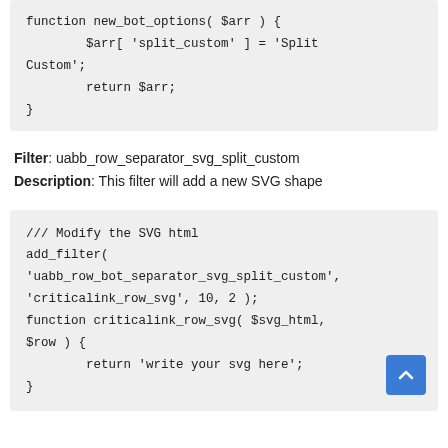function new_bot_options( $arr ) {
        $arr[ 'split_custom' ] = 'Split Custom';
        return $arr;
}
Filter: uabb_row_separator_svg_split_custom
Description: This filter will add a new SVG shape
/// Modify the SVG html
add_filter(
'uabb_row_bot_separator_svg_split_custom',
'criticalink_row_svg', 10, 2 );
function criticalink_row_svg( $svg_html, $row ) {
        return 'write your svg here';
}